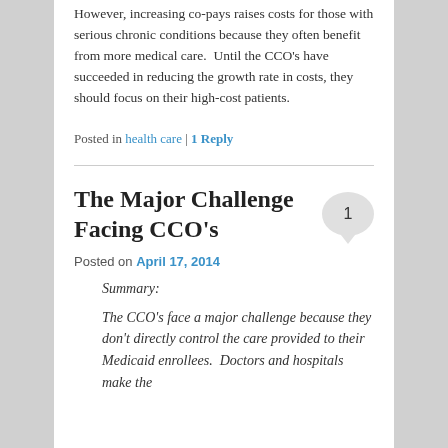However, increasing co-pays raises costs for those with serious chronic conditions because they often benefit from more medical care.  Until the CCO's have succeeded in reducing the growth rate in costs, they should focus on their high-cost patients.
Posted in health care | 1 Reply
The Major Challenge Facing CCO's
Posted on April 17, 2014
Summary:
The CCO's face a major challenge because they don't directly control the care provided to their Medicaid enrollees.  Doctors and hospitals make the